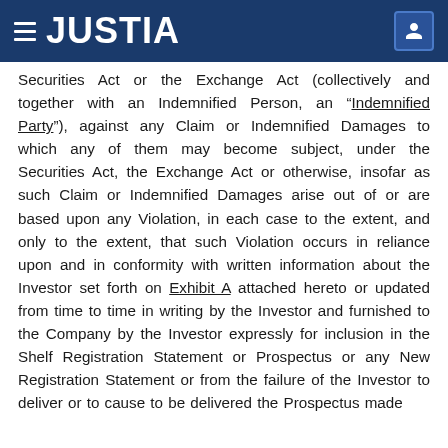JUSTIA
Securities Act or the Exchange Act (collectively and together with an Indemnified Person, an “Indemnified Party”), against any Claim or Indemnified Damages to which any of them may become subject, under the Securities Act, the Exchange Act or otherwise, insofar as such Claim or Indemnified Damages arise out of or are based upon any Violation, in each case to the extent, and only to the extent, that such Violation occurs in reliance upon and in conformity with written information about the Investor set forth on Exhibit A attached hereto or updated from time to time in writing by the Investor and furnished to the Company by the Investor expressly for inclusion in the Shelf Registration Statement or Prospectus or any New Registration Statement or from the failure of the Investor to deliver or to cause to be delivered the Prospectus made